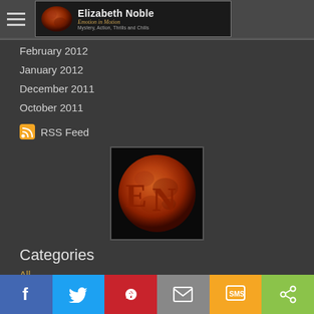Elizabeth Noble — Emotion in Motion — Mystery, Action, Thrills and Chills
February 2012
January 2012
December 2011
October 2011
RSS Feed
[Figure (logo): Elizabeth Noble logo: orange-red moon with EN letters on black background]
Categories
All
Astronomy Stuff
Social share bar: Facebook, Twitter, Pinterest, Email, SMS, Share